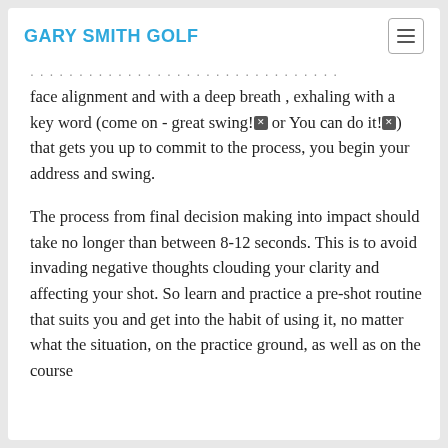GARY SMITH GOLF
face alignment and with a deep breath , exhaling with a key word (come on - great swing! or You can do it!) that gets you up to commit to the process, you begin your address and swing.
The process from final decision making into impact should take no longer than between 8-12 seconds. This is to avoid invading negative thoughts clouding your clarity and affecting your shot. So learn and practice a pre-shot routine that suits you and get into the habit of using it, no matter what the situation, on the practice ground, as well as on the course